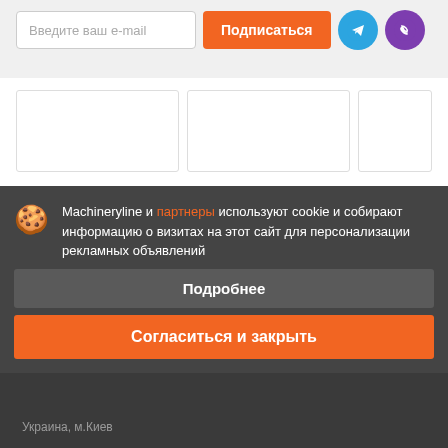Введите ваш e-mail
Подписаться
[Figure (illustration): Telegram icon button (blue circle)]
[Figure (illustration): Viber icon button (purple circle)]
[Figure (illustration): Three product card placeholders in a row]
Machineryline и партнеры используют cookie и собирают информацию о визитах на этот сайт для персонализации рекламных объявлений
Подробнее
Согласиться и закрыть
MST M644 Plus
цена по запросу
Экскаватор-погрузчик, Грузоподъемность: 3500 кг
Скорости передвижения: 42 км/ч
Украина, м.Киев